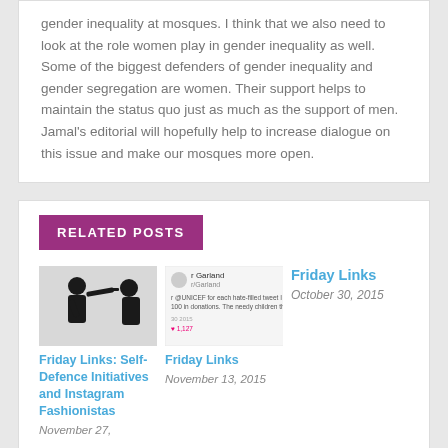gender inequality at mosques. I think that we also need to look at the role women play in gender inequality as well. Some of the biggest defenders of gender inequality and gender segregation are women. Their support helps to maintain the status quo just as much as the support of men. Jamal's editorial will hopefully help to increase dialogue on this issue and make our mosques more open.
RELATED POSTS
[Figure (photo): Silhouette of two people facing each other, one pointing at the other]
Friday Links: Self-Defence Initiatives and Instagram Fashionistas
November 27,
[Figure (screenshot): Screenshot of a tweet from @Garland about donating to UNICEF for each hate-filled tweet]
Friday Links
November 13, 2015
Friday Links
October 30, 2015